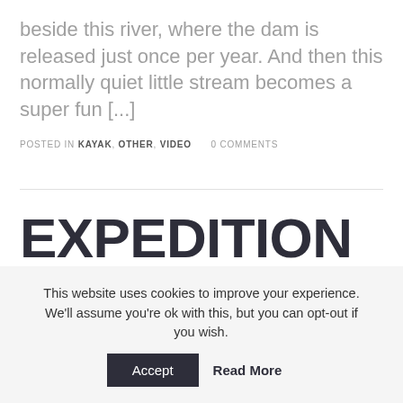beside this river, where the dam is released just once per year. And then this normally quiet little stream becomes a super fun [...]
POSTED IN KAYAK, OTHER, VIDEO   0 COMMENTS
EXPEDITION TO GEORGIA
This website uses cookies to improve your experience. We'll assume you're ok with this, but you can opt-out if you wish.
Accept   Read More